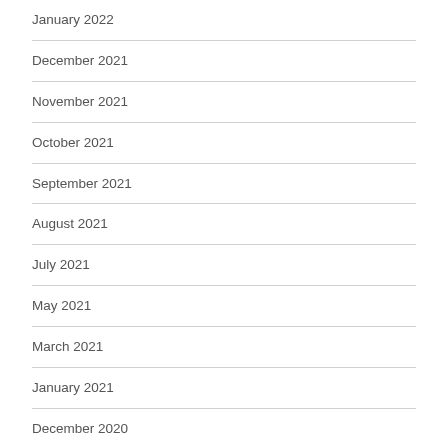January 2022
December 2021
November 2021
October 2021
September 2021
August 2021
July 2021
May 2021
March 2021
January 2021
December 2020